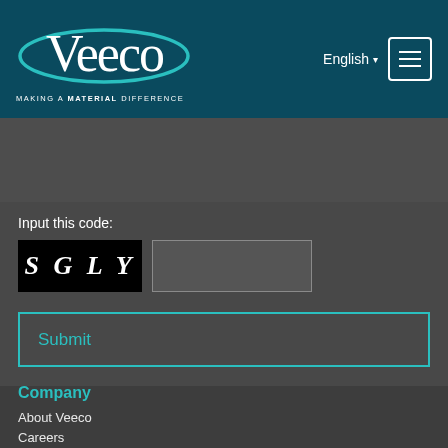[Figure (logo): Veeco logo with teal ellipse and white text, tagline MAKING A MATERIAL DIFFERENCE]
English ▾
[Figure (other): Hamburger menu button with three horizontal lines in white border square]
Input this code:
[Figure (other): CAPTCHA image showing characters S G L Y on black background]
Submit
Company
About Veeco
Careers
News/Blogs